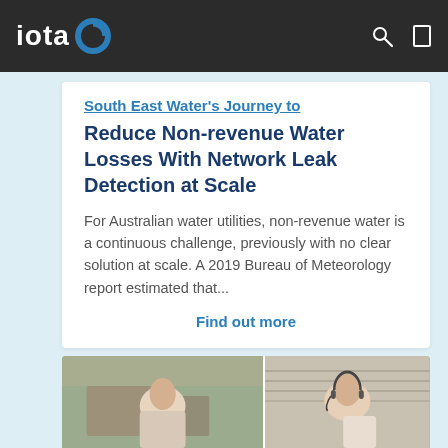iota
South East Water's Journey to Reduce Non-revenue Water Losses With Network Leak Detection at Scale
For Australian water utilities, non-revenue water is a continuous challenge, previously with no clear solution at scale. A 2019 Bureau of Meteorology report estimated that...
Find out more
[Figure (photo): Video call screenshot showing two people: a person on the left in a room with wooden furniture, and a person on the right wearing a headset, in a room with blinds in the background.]